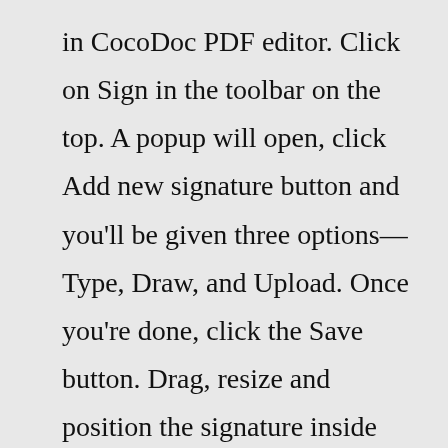in CocoDoc PDF editor. Click on Sign in the toolbar on the top. A popup will open, click Add new signature button and you'll be given three options—Type, Draw, and Upload. Once you're done, click the Save button. Drag, resize and position the signature inside your ...Director General, NITA Commercial Street, Industrial Area Nairobi. Telephone: +254-20-2695586/9 Mobile No: +254-720-917897,254-736-